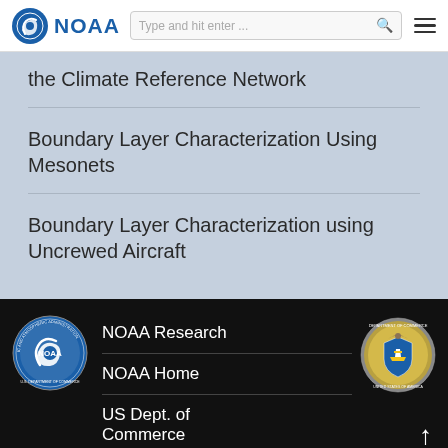NOAA — Type and hit enter ...
the Climate Reference Network
Boundary Layer Characterization Using Mesonets
Boundary Layer Characterization using Uncrewed Aircraft
NOAA Research | NOAA Home | US Dept. of Commerce